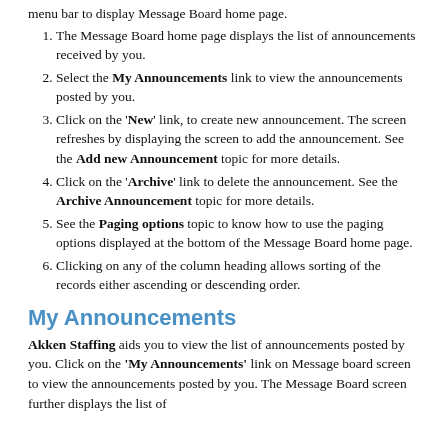menu bar to display Message Board home page.
The Message Board home page displays the list of announcements received by you.
Select the My Announcements link to view the announcements posted by you.
Click on the 'New' link, to create new announcement. The screen refreshes by displaying the screen to add the announcement. See the Add new Announcement topic for more details.
Click on the 'Archive' link to delete the announcement. See the Archive Announcement topic for more details.
See the Paging options topic to know how to use the paging options displayed at the bottom of the Message Board home page.
Clicking on any of the column heading allows sorting of the records either ascending or descending order.
My Announcements
Akken Staffing aids you to view the list of announcements posted by you. Click on the 'My Announcements' link on Message board screen to view the announcements posted by you. The Message Board screen further displays the list of...